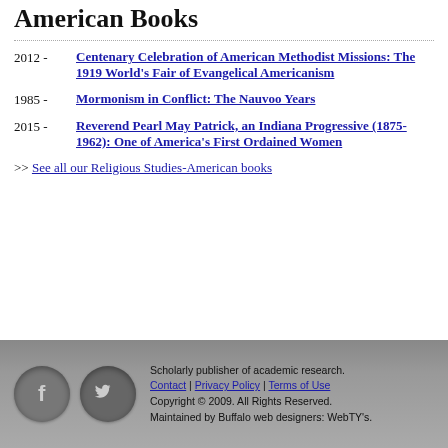American Books
2012 - Centenary Celebration of American Methodist Missions: The 1919 World's Fair of Evangelical Americanism
1985 - Mormonism in Conflict: The Nauvoo Years
2015 - Reverend Pearl May Patrick, an Indiana Progressive (1875-1962): One of America's First Ordained Women
>> See all our Religious Studies-American books
Scholarly publisher of academic research. Contact | Privacy Policy | Terms of Use Copyright © 2009. All Rights Reserved. Maintained by Buffalo web designers: WebTY's.